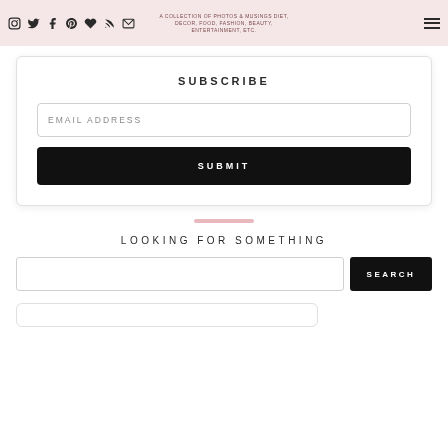A COLLECTION OF PHOTOS & MUSINGS DIET, DECOR, FOOD, FASHION, BEAUTY, ENTERTAINMENT, ETC.
SUBSCRIBE
EMAIL ADDRESS
SUBMIT
LOOKING FOR SOMETHING
SEARCH